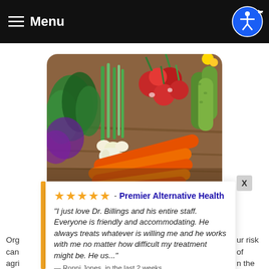☰ Menu
[Figure (photo): Photo of fresh vegetables including carrots, radishes, green onions, garlic, and leafy greens arranged on a wooden surface]
★★★★★ - Premier Alternative Health
"I just love Dr. Billings and his entire staff. Everyone is friendly and accommodating. He always treats whatever is willing me and he works with me no matter how difficult my treatment might be. He us..."
— Ronni Jones, in the last 2 weeks
⚡ by Review Wave
Org ... ur risk of can ... n the agr ...